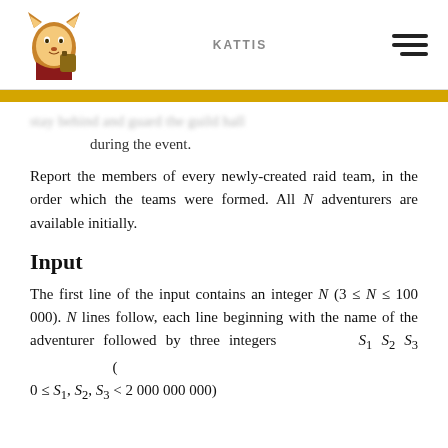KATTIS
stay behind and guard the guild hall during the event.
Report the members of every newly-created raid team, in the order which the teams were formed. All N adventurers are available initially.
Input
The first line of the input contains an integer N (3 ≤ N ≤ 100 000). N lines follow, each line beginning with the name of the adventurer followed by three integers S_1 S_2 S_3 ( 0 ≤ S_1, S_2, S_3 < 2 000 000 000)